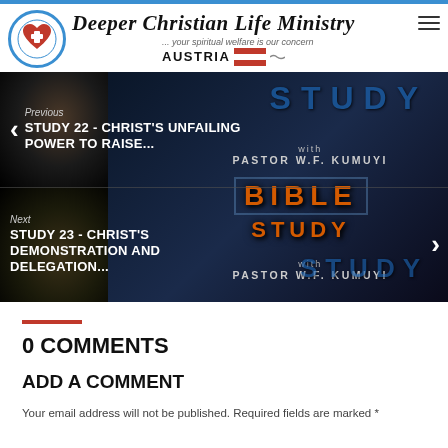Deeper Christian Life Ministry ... your spiritual welfare is our concern AUSTRIA
[Figure (screenshot): Navigation cards showing previous study (Study 22 - Christ's Unfailing Power to Raise...) and next study (Study 23 - Christ's Demonstration and Delegation...) with Bible Study with Pastor W.F. Kumuyi branding on dark background]
0 COMMENTS
ADD A COMMENT
Your email address will not be published. Required fields are marked *